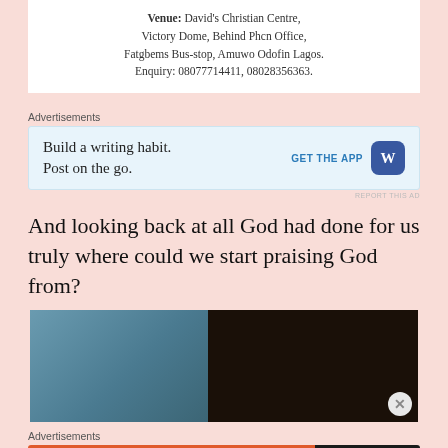Venue: David's Christian Centre, Victory Dome, Behind Phcn Office, Fatgbems Bus-stop, Amuwo Odofin Lagos. Enquiry: 08077714411, 08028356363.
Advertisements
[Figure (screenshot): WordPress ad: Build a writing habit. Post on the go. GET THE APP with WordPress logo]
REPORT THIS AD
And looking back at all God had done for us truly where could we start praising God from?
[Figure (photo): Photo of a person's head/hair against a blurred teal/blue background]
Advertisements
[Figure (screenshot): DuckDuckGo ad: Search, browse, and email with more privacy. All in One Free App. DuckDuckGo logo.]
REPORT THIS AD